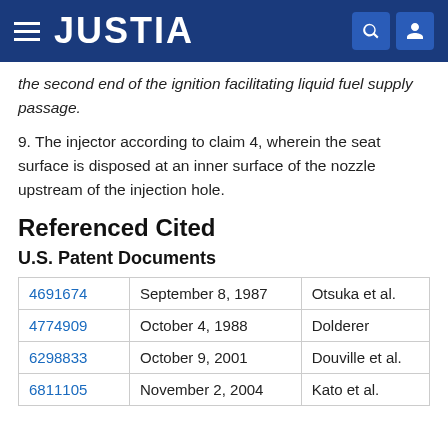JUSTIA
the second end of the ignition facilitating liquid fuel supply passage.
9. The injector according to claim 4, wherein the seat surface is disposed at an inner surface of the nozzle upstream of the injection hole.
Referenced Cited
U.S. Patent Documents
|  |  |  |
| --- | --- | --- |
| 4691674 | September 8, 1987 | Otsuka et al. |
| 4774909 | October 4, 1988 | Dolderer |
| 6298833 | October 9, 2001 | Douville et al. |
| 6811105 | November 2, 2004 | Kato et al. |